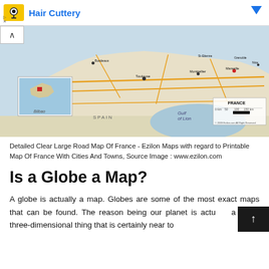Hair Cuttery
[Figure (map): Detailed clear large road map of France showing cities, towns, roads, and regional geography including Spain border and Gulf of Lion. Inset map shows France location in Europe. FRANCE label with scale bar. Copyright 2009 Ezilon.com All Right Reserved.]
Detailed Clear Large Road Map Of France - Ezilon Maps with regard to Printable Map Of France With Cities And Towns, Source Image : www.ezilon.com
Is a Globe a Map?
A globe is actually a map. Globes are some of the most exact maps that can be found. The reason being our planet is actually a about three-dimensional thing that is certainly near to